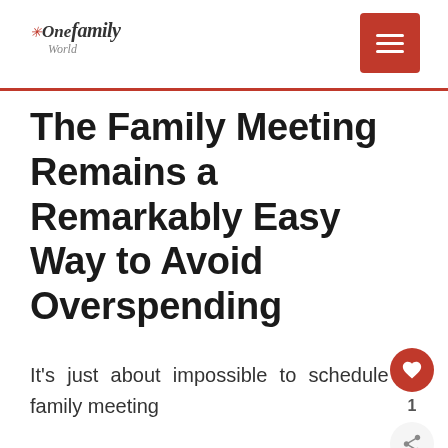OneFamilyWorld — navigation header with logo and menu button
The Family Meeting Remains a Remarkably Easy Way to Avoid Overspending
It's just about impossible to schedule a family meeting